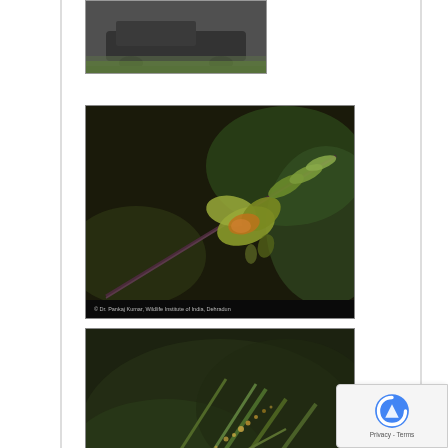[Figure (photo): Partial view of a plant or vehicle photograph at top, partially cropped]
[Figure (photo): Close-up photograph of Epipactis veratrifolia flower on a dark stem with green bracts and yellow-green petals, with watermark text at bottom]
[Figure (photo): Wider habitat photograph of Epipactis veratrifolia plant showing leaves and small flowers in natural setting, with watermark text at bottom]
Epipactis veratrifolia Boiss. & Hohen. from Uttarakh… PKS-70 : Attachments (4). 9 posts by 7 authors.
Epipactis veratrifolia Boiss. & Hohen. in P.E.Boissier,